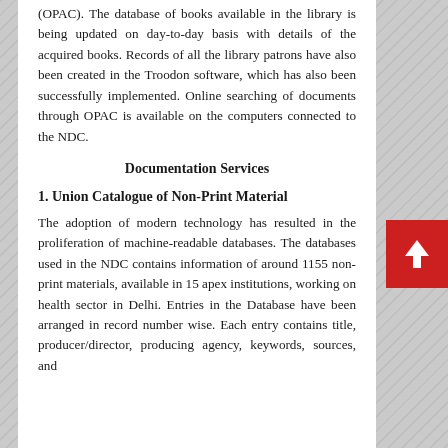(OPAC). The database of books available in the library is being updated on day-to-day basis with details of the acquired books. Records of all the library patrons have also been created in the Troodon software, which has also been successfully implemented. Online searching of documents through OPAC is available on the computers connected to the NDC.
Documentation Services
1. Union Catalogue of Non-Print Material
The adoption of modern technology has resulted in the proliferation of machine-readable databases. The databases used in the NDC contains information of around 1155 non-print materials, available in 15 apex institutions, working on health sector in Delhi. Entries in the Database have been arranged in record number wise. Each entry contains title, producer/director, producing agency, keywords, sources, and